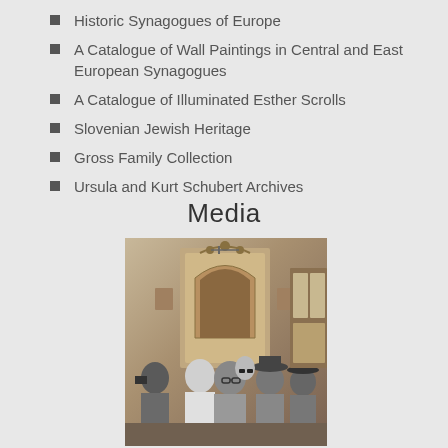Historic Synagogues of Europe
A Catalogue of Wall Paintings in Central and East European Synagogues
A Catalogue of Illuminated Esther Scrolls
Slovenian Jewish Heritage
Gross Family Collection
Ursula and Kurt Schubert Archives
Media
[Figure (photo): Black and white photograph of a group of people gathered in what appears to be a synagogue or Jewish cultural space, with an ornate ark or display case visible in the background. Several men and women are visible, some wearing hats and glasses.]